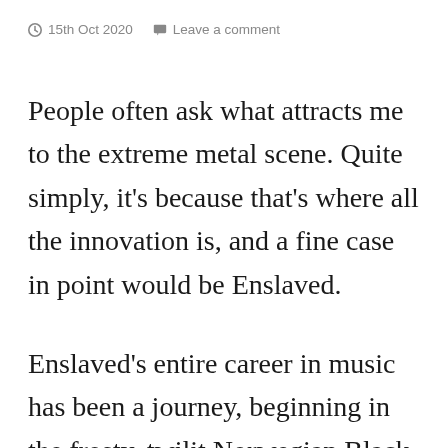15th Oct 2020   Leave a comment
People often ask what attracts me to the extreme metal scene. Quite simply, it’s because that’s where all the innovation is, and a fine case in point would be Enslaved.
Enslaved’s entire career in music has been a journey, beginning in the frosty, twilit Norwegian Black Metal scene of the early 90s and culminating here and now with Utgard